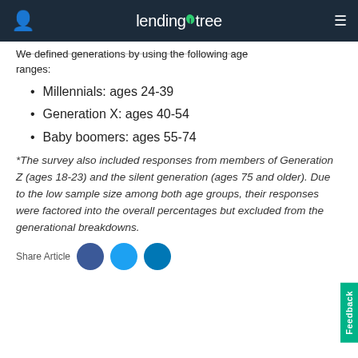lendingtree
We defined generations by using the following age ranges:
Millennials: ages 24-39
Generation X: ages 40-54
Baby boomers: ages 55-74
*The survey also included responses from members of Generation Z (ages 18-23) and the silent generation (ages 75 and older). Due to the low sample size among both age groups, their responses were factored into the overall percentages but excluded from the generational breakdowns.